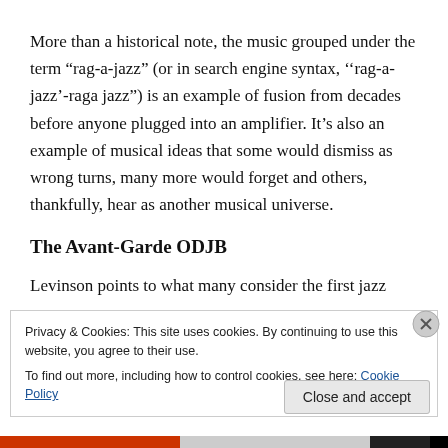More than a historical note, the music grouped under the term “rag-a-jazz” (or in search engine syntax, ‘’rag-a-jazz’-raga jazz”) is an example of fusion from decades before anyone plugged into an amplifier. It’s also an example of musical ideas that some would dismiss as wrong turns, many more would forget and others, thankfully, hear as another musical universe.
The Avant-Garde ODJB
Levinson points to what many consider the first jazz record
Privacy & Cookies: This site uses cookies. By continuing to use this website, you agree to their use.
To find out more, including how to control cookies, see here: Cookie Policy